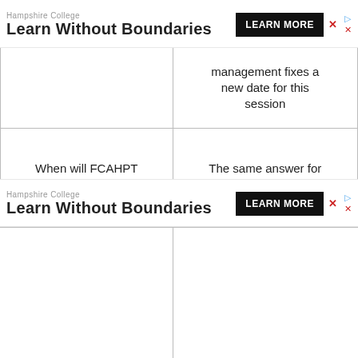[Figure (other): Hampshire College 'Learn Without Boundaries' advertisement banner with LEARN MORE button (top)]
|  |  |
| --- | --- |
|  | management fixes a new date for this session |
| When will FCAHPT part-time exams commence? | The same answer for Question 6 applies to this. |
|  | The process of uploading your O'level result on FCAHPT portal is... |
[Figure (other): Hampshire College 'Learn Without Boundaries' advertisement banner with LEARN MORE button (bottom)]